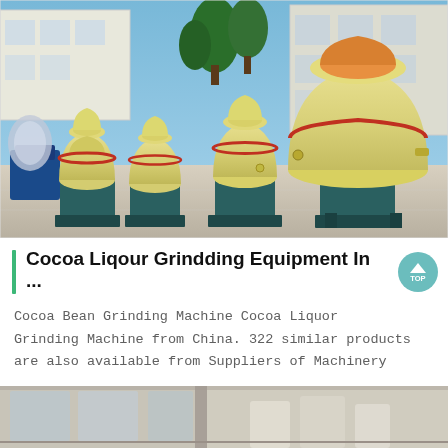[Figure (photo): Outdoor photo of multiple large yellow industrial grinding/milling machines on teal/dark green metal stands, arranged in a row on a concrete surface, with white industrial buildings and green trees visible in the background under a blue sky.]
Cocoa Liqour Grindding Equipment In ...
Cocoa Bean Grinding Machine Cocoa Liquor Grinding Machine from China. 322 similar products are also available from Suppliers of Machinery
[Figure (photo): Partial bottom strip showing an interior industrial setting with machinery and concrete walls visible.]